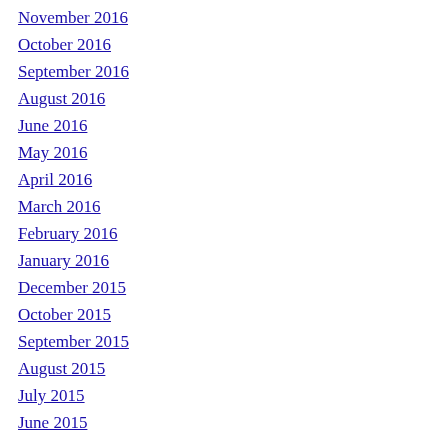November 2016
October 2016
September 2016
August 2016
June 2016
May 2016
April 2016
March 2016
February 2016
January 2016
December 2015
October 2015
September 2015
August 2015
July 2015
June 2015